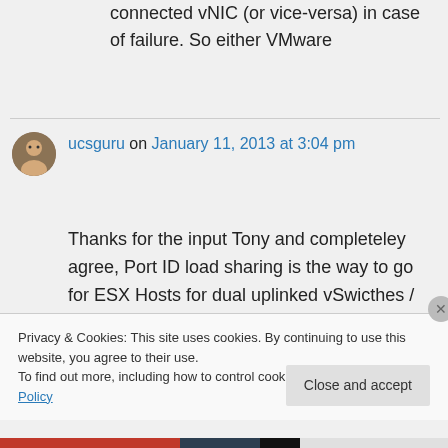connected vNIC (or vice-versa) in case of failure. So either VMware
ucsguru on January 11, 2013 at 3:04 pm
Thanks for the input Tony and completeley agree, Port ID load sharing is the way to go for ESX Hosts for dual uplinked vSwicthes /
Privacy & Cookies: This site uses cookies. By continuing to use this website, you agree to their use.
To find out more, including how to control cookies, see here: Cookie Policy